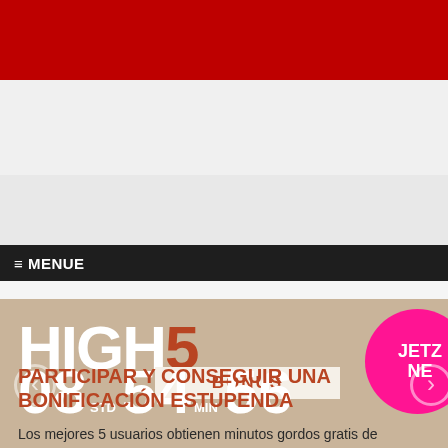[Figure (screenshot): Red banner at top of webpage]
[Figure (screenshot): Light gray advertisement/banner area]
[Figure (screenshot): Lighter gray secondary banner area]
≡ MENUE
[Figure (infographic): HIGH5 BONUS promotion banner with countdown timer showing 08 STD 54 MIN 56, pink circle with JETZ/NE text, and promotional text]
PARTICIPAR Y CONSEGUIR UNA BONIFICACIÓN ESTUPENDA
Los mejores 5 usuarios obtienen minutos gordos gratis de